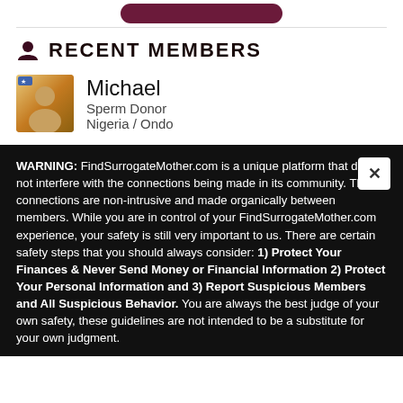RECENT MEMBERS
Michael
Sperm Donor
Nigeria / Ondo
WARNING: FindSurrogateMother.com is a unique platform that does not interfere with the connections being made in its community. The connections are non-intrusive and made organically between members. While you are in control of your FindSurrogateMother.com experience, your safety is still very important to us. There are certain safety steps that you should always consider: 1) Protect Your Finances & Never Send Money or Financial Information 2) Protect Your Personal Information and 3) Report Suspicious Members and All Suspicious Behavior. You are always the best judge of your own safety, these guidelines are not intended to be a substitute for your own judgment.